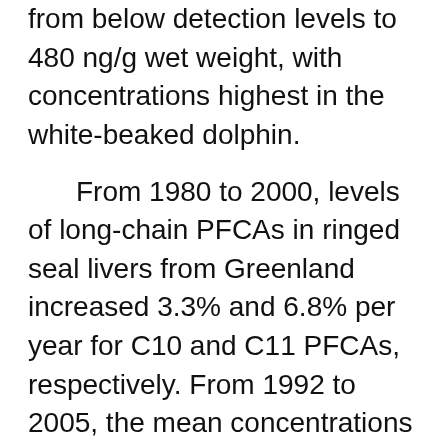from below detection levels to 480 ng/g wet weight, with concentrations highest in the white-beaked dolphin.
From 1980 to 2000, levels of long-chain PFCAs in ringed seal livers from Greenland increased 3.3% and 6.8% per year for C10 and C11 PFCAs, respectively. From 1992 to 2005, the mean concentrations of C9 and C10 PFCAs in the livers of Baikal seals were 1.2 to 1.7 times higher. From 1972 to 2002, mean doubling times for concentrations in the livers of Arctic polar bears ranged from 5.8 to 9.1 years for C9 to C11 PFCAs. From 1993 to 2004, concentrations in the liver